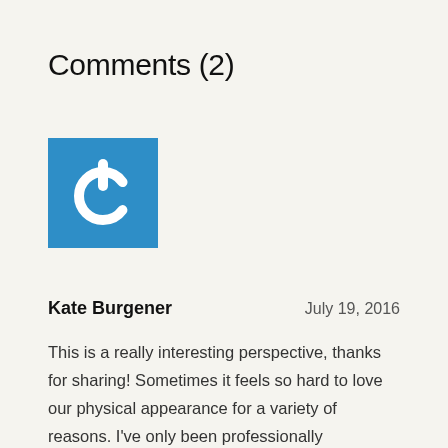Comments (2)
[Figure (illustration): Blue square avatar icon with a white power/on-off symbol (circle with top gap and vertical line through top) centered on it]
Kate Burgener	July 19, 2016
This is a really interesting perspective, thanks for sharing! Sometimes it feels so hard to love our physical appearance for a variety of reasons. I've only been professionally photographed a few times in my life, but I've always found it fascinating to see the results. I